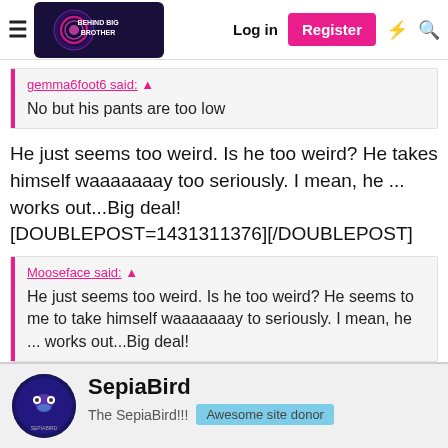Behind Big Brother — Log in | Register
gemma6foot6 said: ↑
No but his pants are too low
He just seems too weird. Is he too weird? He takes himself waaaaaaay too seriously. I mean, he ... works out...Big deal! [DOUBLEPOST=1431311376][/DOUBLEPOST]
Mooseface said: ↑
He just seems too weird. Is he too weird? He seems to me to take himself waaaaaaay to seriously. I mean, he ... works out...Big deal!
SepiaBird
The SepiaBird!!!
Awesome site donor